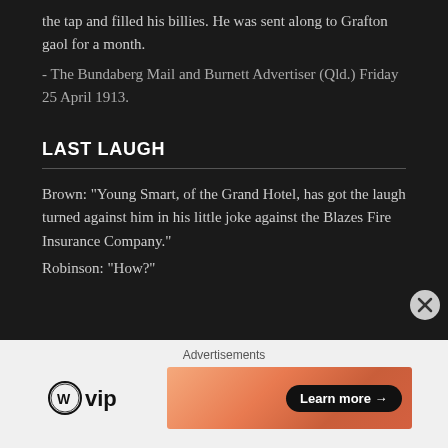the tap and filled his billies. He was sent along to Grafton gaol for a month.
- The Bundaberg Mail and Burnett Advertiser (Qld.) Friday 25 April 1913.
LAST LAUGH
Brown: "Young Smart, of the Grand Hotel, has got the laugh turned against him in his little joke against the Blazes Fire Insurance Company."
Robinson: "How?"
[Figure (other): Advertisement bar with WordPress VIP logo and a Learn more button on a gradient orange background]